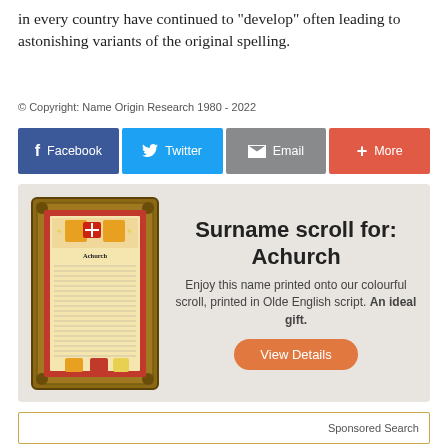in every country have continued to "develop" often leading to astonishing variants of the original spelling.
© Copyright: Name Origin Research 1980 - 2022
[Figure (infographic): Social sharing buttons: Facebook (blue), Twitter (light blue), Email (grey), More (red-orange)]
[Figure (infographic): Surname scroll advertisement box with decorative framed scroll image on left and text on right reading 'Surname scroll for: Achurch'. Description: Enjoy this name printed onto our colourful scroll, printed in Olde English script. An ideal gift. Button: View Details]
Sponsored Search